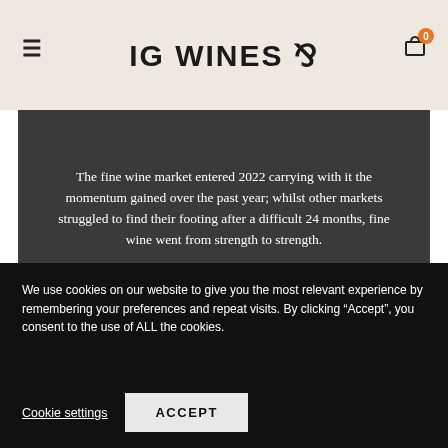IG WINES
The fine wine market entered 2022 carrying with it the momentum gained over the past year; whilst other markets struggled to find their footing after a difficult 24 months, fine wine went from strength to strength.
READ THE REPORT
We use cookies on our website to give you the most relevant experience by remembering your preferences and repeat visits. By clicking “Accept”, you consent to the use of ALL the cookies.
Cookie settings
ACCEPT